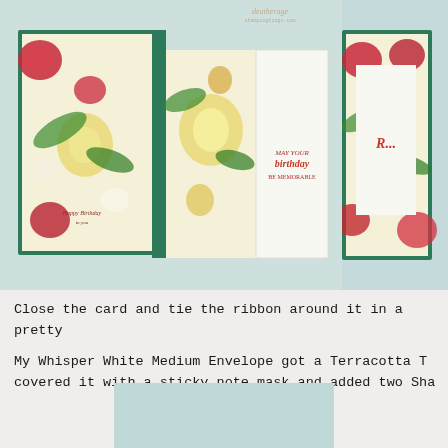[Figure (photo): Two photos side by side showing a tropical floral accordion-fold birthday card opened flat, with green cardstock, hibiscus and lily floral patterned paper panels, and stamped birthday sentiments inside. Left photo shows full card opened; right photo shows partial view of closed card front.]
Close the card and tie the ribbon around it in a pretty
My Whisper White Medium Envelope got a Terracotta T covered it with a sticky note mask and added two Sha
[Figure (photo): Partial bottom image, pale blue/teal background, mostly cropped off.]